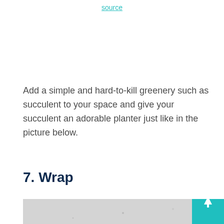source
Add a simple and hard-to-kill greenery such as succulent to your space and give your succulent an adorable planter just like in the picture below.
7. Wrap
[Figure (photo): A photo partially visible at the bottom of the page showing what appears to be a light gray textured surface, with a teal/turquoise button element in the lower right corner containing an upward arrow.]